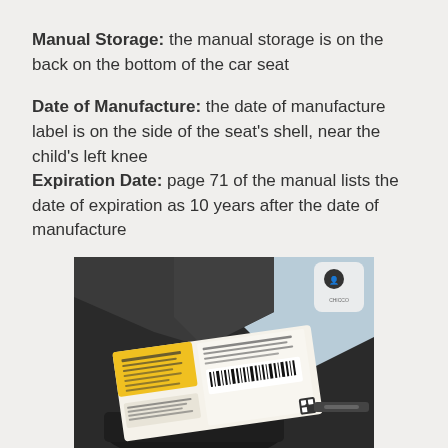Manual Storage: the manual storage is on the back on the bottom of the car seat
Date of Manufacture: the date of manufacture label is on the side of the seat's shell, near the child's left knee Expiration Date: page 71 of the manual lists the date of expiration as 10 years after the date of manufacture
[Figure (photo): Photo of the underside of a car seat showing a label/sticker with warning information and a barcode, with dark fabric and plastic base visible]